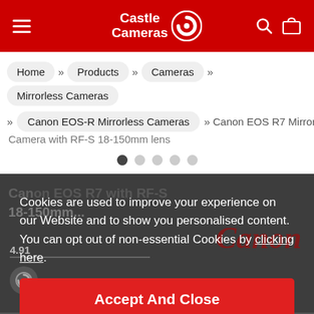Castle Cameras
Home » Products » Cameras » Mirrorless Cameras » Canon EOS-R Mirrorless Cameras » Canon EOS R7 Mirrorless Camera with RF-S 18-150mm lens
Cookies are used to improve your experience on our Website and to show you personalised content. You can opt out of non-essential Cookies by clicking here.
Accept And Close